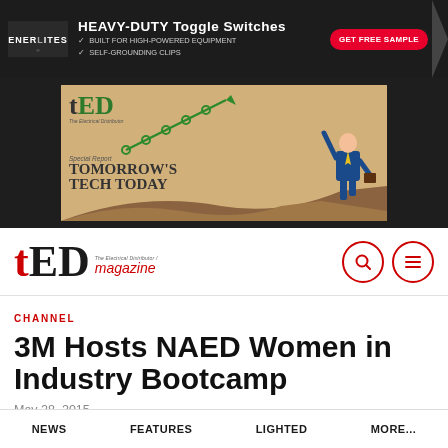[Figure (other): ENERLITES advertisement banner for Heavy-Duty Toggle Switches with GET FREE SAMPLE button]
[Figure (other): TED Magazine advertisement showing Special Report: Tomorrow's Tech Today with line chart and businessman figure]
[Figure (logo): tED The Electrical Distributor Magazine logo with search and menu icons]
CHANNEL
3M Hosts NAED Women in Industry Bootcamp
May 28, 2015
NEWS   FEATURES   LIGHTED   MORE...